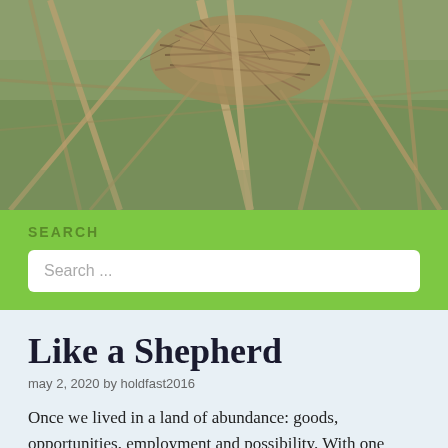[Figure (photo): A photograph of a bird's nest made of dry twigs and branches, situated among bare tree branches with greenery visible in the background.]
SEARCH
Search ...
Like a Shepherd
may 2, 2020 by holdfast2016
Once we lived in a land of abundance: goods, opportunities, employment and possibility. With one swift blow, the coronavirus changed all that.